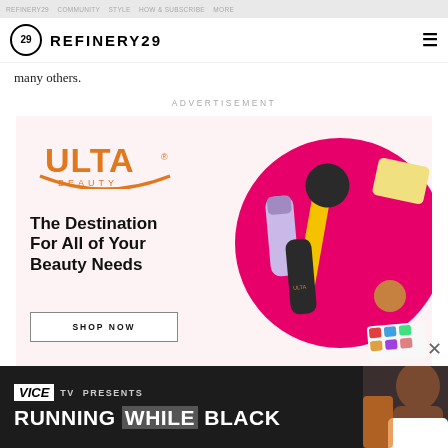Page-header nav bar - Refinery29
many others.
ADVERTISEMENT
[Figure (illustration): Ulta Beauty advertisement. Pink background with Ulta Beauty logo, beauty products including brushes and cosmetics. Text reads: The Destination For All of Your Beauty Needs. SHOP NOW button.]
[Figure (illustration): Vice TV banner ad. Dark background. VICE TV PRESENTS. RUNNING WHILE BLACK. Person's face visible on right side.]